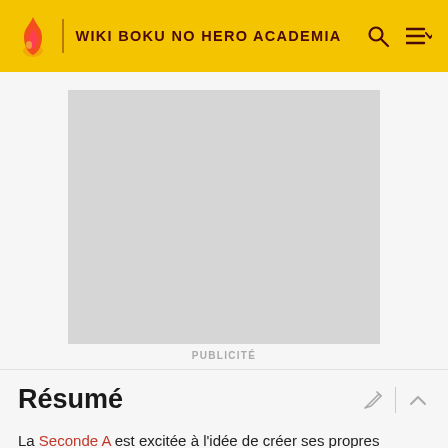WIKI BOKU NO HERO ACADEMIA
[Figure (other): Gray advertisement placeholder box]
PUBLICITÉ
Résumé
La Seconde A est excitée à l'idée de créer ses propres